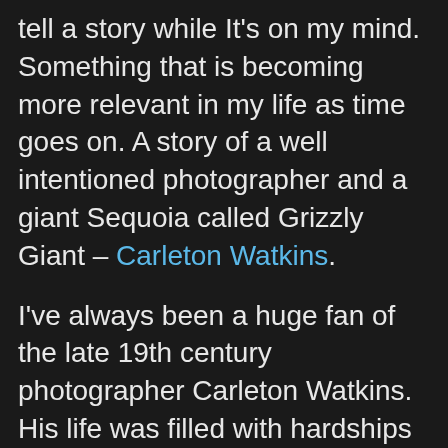tell a story while It's on my mind. Something that is becoming more relevant in my life as time goes on. A story of a well intentioned photographer and a giant Sequoia called Grizzly Giant – Carleton Watkins.
I've always been a huge fan of the late 19th century photographer Carleton Watkins. His life was filled with hardships but his passion was the natural world and photography. I've found inspiration in his work and his life. He was also the first person to photograph the gorge.
Carleton Watkins was born in New York but moved to California in 1851 to find gold. He had never taken a photo before but was asked to tend to a shop for a daguerreotype